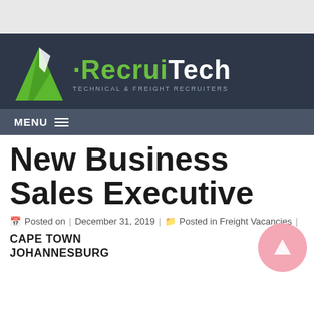[Figure (logo): RecruiTech logo with green triangle graphic and text 'RecruiTech - Technical & Freight Recruiters' on dark background]
MENU
New Business Sales Executive
Posted on | December 31, 2019| Posted in Freight Vacancies |
CAPE TOWN
JOHANNESBURG